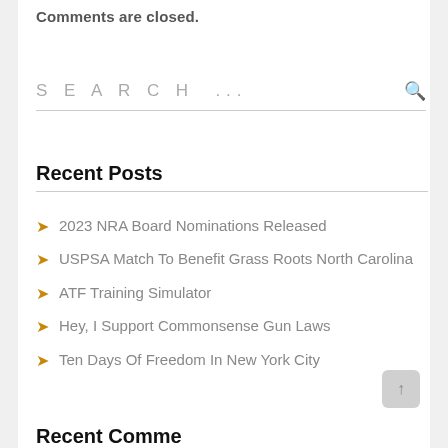Comments are closed.
SEARCH ...
Recent Posts
2023 NRA Board Nominations Released
USPSA Match To Benefit Grass Roots North Carolina
ATF Training Simulator
Hey, I Support Commonsense Gun Laws
Ten Days Of Freedom In New York City
Recent Comments